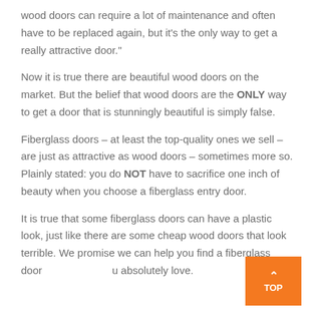wood doors can require a lot of maintenance and often have to be replaced again, but it’s the only way to get a really attractive door.”
Now it is true there are beautiful wood doors on the market. But the belief that wood doors are the ONLY way to get a door that is stunningly beautiful is simply false.
Fiberglass doors – at least the top-quality ones we sell – are just as attractive as wood doors – sometimes more so. Plainly stated: you do NOT have to sacrifice one inch of beauty when you choose a fiberglass entry door.
It is true that some fiberglass doors can have a plastic look, just like there are some cheap wood doors that look terrible. We promise we can help you find a fiberglass door that you absolutely love.